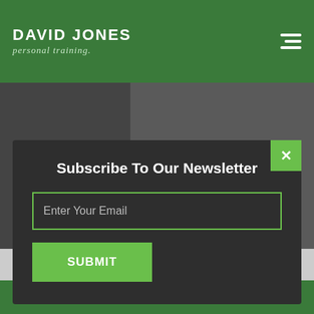DAVID JONES personal training
[Figure (photo): Two-panel background photo of personal training gym scenes]
[Figure (screenshot): Newsletter subscription modal popup with dark background, email input field, and green submit button]
Introduction
07973533943